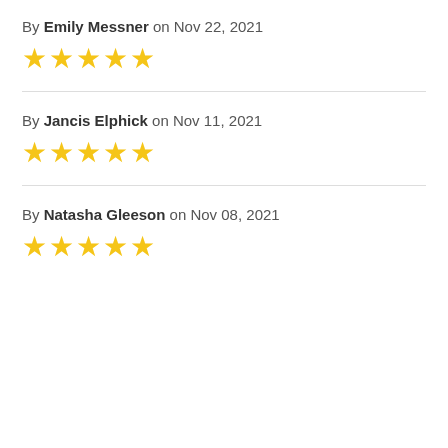By Emily Messner on Nov 22, 2021
[Figure (other): 5 gold star rating icons]
By Jancis Elphick on Nov 11, 2021
[Figure (other): 5 gold star rating icons]
By Natasha Gleeson on Nov 08, 2021
[Figure (other): 5 gold star rating icons]